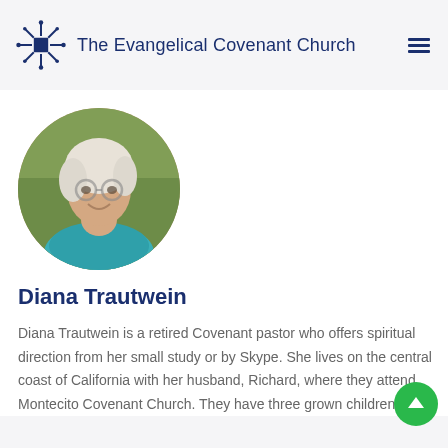The Evangelical Covenant Church
[Figure (photo): Circular profile photo of Diana Trautwein, an older woman with glasses and white hair, wearing a teal sweater, smiling outdoors.]
Diana Trautwein
Diana Trautwein is a retired Covenant pastor who offers spiritual direction from her small study or by Skype. She lives on the central coast of California with her husband, Richard, where they attend Montecito Covenant Church. They have three grown children and